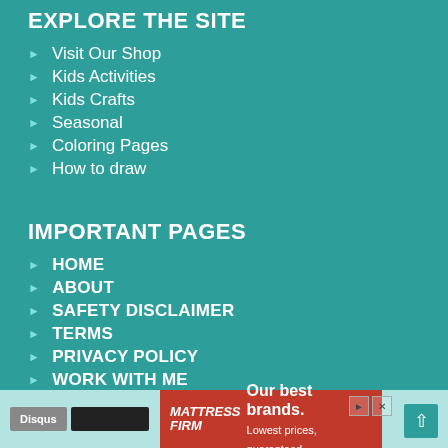EXPLORE THE SITE
Visit Our Shop
Kids Activities
Kids Crafts
Seasonal
Coloring Pages
How to draw
IMPORTANT PAGES
HOME
ABOUT
SAFETY DISCLAIMER
TERMS
PRIVACY POLICY
WORK WITH ME
SITE MAP
[Figure (other): Advertisement banner for Mattress Firm: 'Our best brands. Lowest prices, guaranteed.']